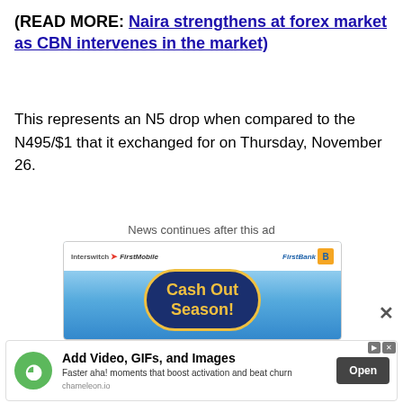(READ MORE: Naira strengthens at forex market as CBN intervenes in the market)
This represents an N5 drop when compared to the N495/$1 that it exchanged for on Thursday, November 26.
News continues after this ad
[Figure (screenshot): Advertisement banner for FirstBank FirstMobile Interswitch showing Cash Out Season promotion with blue background and gold text]
[Figure (screenshot): Bottom advertisement for chameleon.io: Add Video, GIFs, and Images - Faster aha! moments that boost activation and beat churn. Open button shown.]